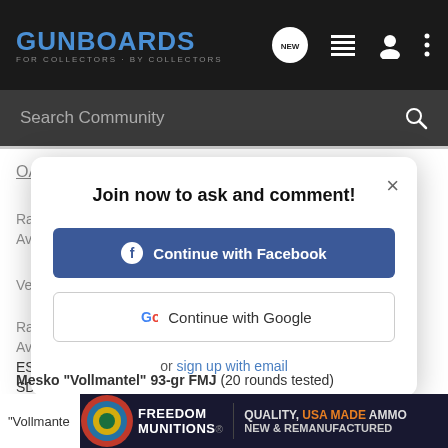GUNBOARDS - FOR COLLECTORS · BY COLLECTORS
Search Community
OAL (ins)
Range: 0.973 - 0.978
Av
Ve
Ra
Av
ES
SD
Join now to ask and comment!
Continue with Facebook
Continue with Google
or sign up with email
Mesko "Vollmantel" 93-gr FMJ (20 rounds tested)
"Vollmante
[Figure (screenshot): Freedom Munitions advertisement banner: FREEDOM MUNITIONS - QUALITY, USA MADE AMMO, NEW & REMANUFACTURED]